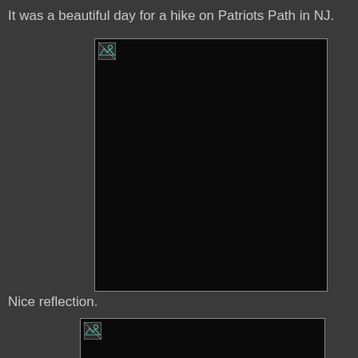It was a beautiful day for a hike on Patriots Path in NJ.
[Figure (photo): A photo that failed to load (broken image placeholder), shown as a large dark rectangle with a broken image icon in the top-left corner.]
Nice reflection.
[Figure (photo): A second photo that failed to load (broken image placeholder), shown as a dark rectangle with a broken image icon in the top-left corner, partially visible at the bottom of the page.]